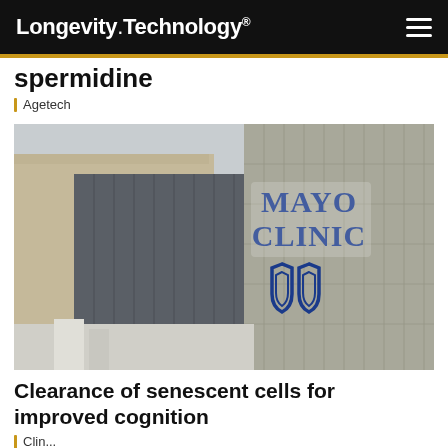Longevity.Technology®
spermidine
Agetech
[Figure (photo): Exterior photograph of a Mayo Clinic building showing the Mayo Clinic sign with logo on a grey stone facade]
Clearance of senescent cells for improved cognition